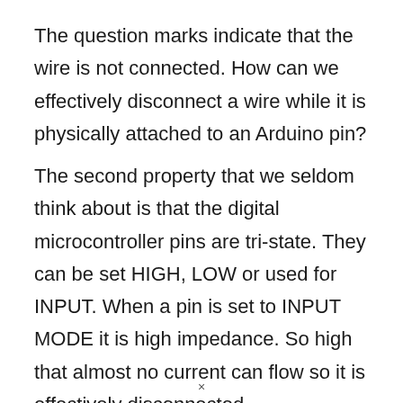The question marks indicate that the wire is not connected. How can we effectively disconnect a wire while it is physically attached to an Arduino pin?
The second property that we seldom think about is that the digital microcontroller pins are tri-state. They can be set HIGH, LOW or used for INPUT. When a pin is set to INPUT MODE it is high impedance. So high that almost no current can flow so it is effectively disconnected.
×